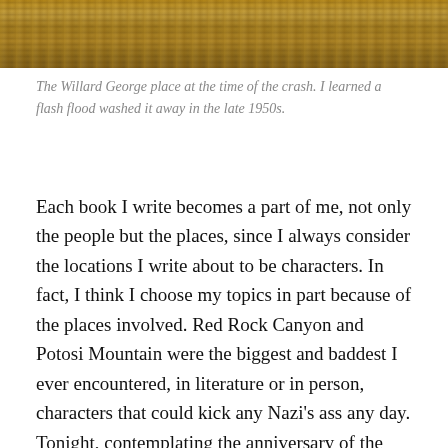[Figure (photo): Partial view of a framed photograph or painting with ornate golden/brown frame, showing decorative carved frame details at the top of the page.]
The Willard George place at the time of the crash. I learned a flash flood washed it away in the late 1950s.
Each book I write becomes a part of me, not only the people but the places, since I always consider the locations I write about to be characters. In fact, I think I choose my topics in part because of the places involved. Red Rock Canyon and Potosi Mountain were the biggest and baddest I ever encountered, in literature or in person, characters that could kick any Nazi's ass any day. Tonight, contemplating the anniversary of the crash tomorrow, I'm thinking of a little ranch and some brave men and their horses who took on those badlands of Nevada—the same badlands that had swatted a DC-3 out of the sky, and there went Wayne C. Williams, Morgan Gillette, Alice Getz,